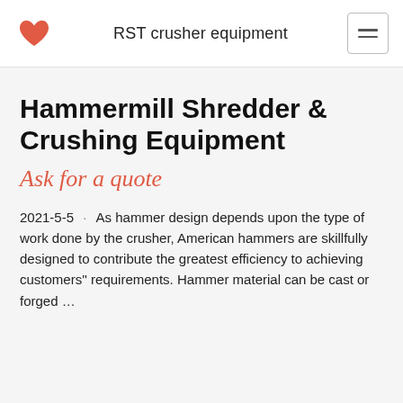RST crusher equipment
Hammermill Shredder & Crushing Equipment
Ask for a quote
2021-5-5 · As hammer design depends upon the type of work done by the crusher, American hammers are skillfully designed to contribute the greatest efficiency to achieving customers'' requirements. Hammer material can be cast or forged ...